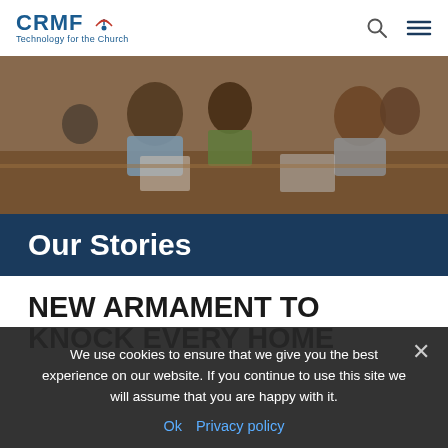CRMF Technology for the Church
[Figure (photo): Group of people sitting around tables working on laptops in what appears to be a training or workshop session.]
Our Stories
NEW ARMAMENT TO KNOCK EVERY HOME
We use cookies to ensure that we give you the best experience on our website. If you continue to use this site we will assume that you are happy with it.
Ok   Privacy policy